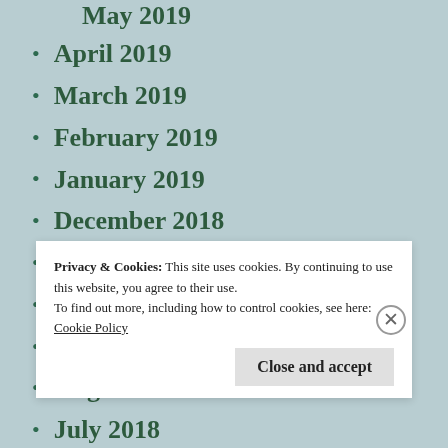April 2019
March 2019
February 2019
January 2019
December 2018
November 2018
October 2018
September 2018
August 2018
July 2018
Privacy & Cookies: This site uses cookies. By continuing to use this website, you agree to their use.
To find out more, including how to control cookies, see here:
Cookie Policy
Close and accept